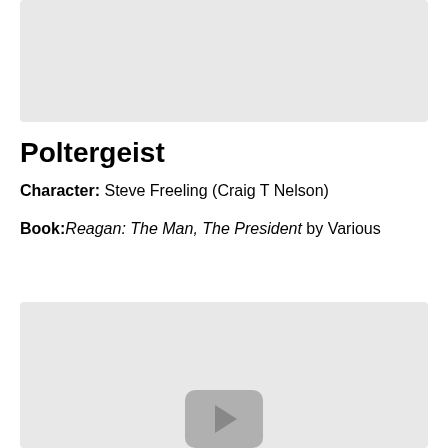[Figure (other): Gray placeholder image at top of page]
Poltergeist
Character: Steve Freeling (Craig T Nelson)
Book: Reagan: The Man, The President by Various
[Figure (other): Gray placeholder image with play button icon at bottom of page]